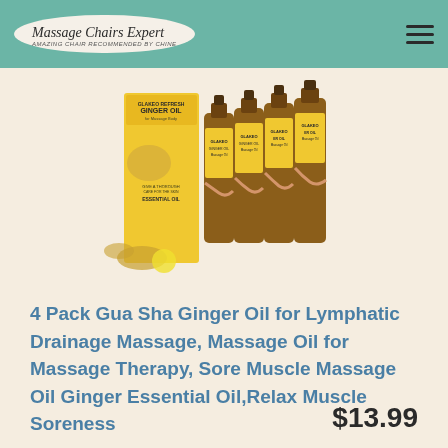Massage Chairs Expert
[Figure (photo): Multiple bottles of GLAKEO Ginger Oil product arranged in a fan display, showing amber dropper bottles with yellow product boxes labeled Ginger Oil, with ginger root imagery]
4 Pack Gua Sha Ginger Oil for Lymphatic Drainage Massage, Massage Oil for Massage Therapy, Sore Muscle Massage Oil Ginger Essential Oil,Relax Muscle Soreness
$13.99